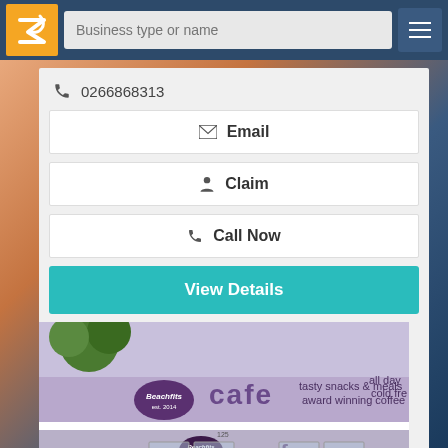[Figure (screenshot): Navigation header with orange logo (stylized hand/Z), search input field reading 'Business type or name', and hamburger menu button on dark blue background]
0266868313
Email
Claim
Call Now
View Details
[Figure (photo): Exterior photo of Beachfits cafe storefront showing purple/lavender awning with text 'cafe', 'tasty snacks & meals', 'award winning coffee', 'all day', 'cold fre', with a reflection showing the storefront repeated]